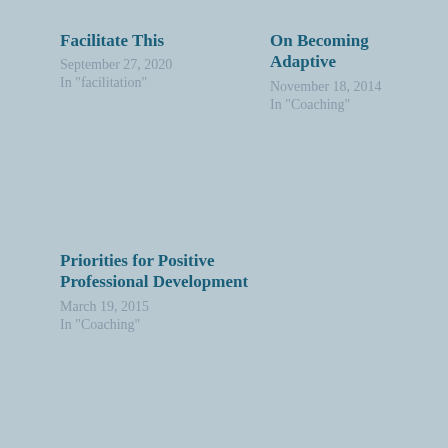Facilitate This
September 27, 2020
In "facilitation"
On Becoming Adaptive
November 18, 2014
In "Coaching"
Priorities for Positive Professional Development
March 19, 2015
In "Coaching"